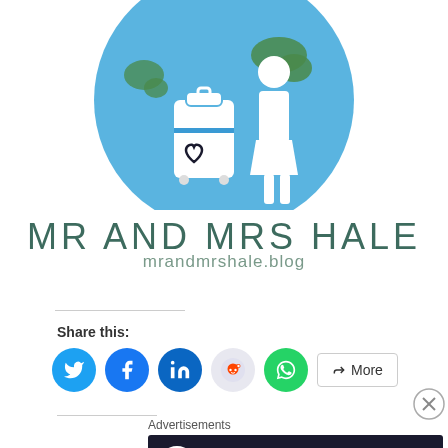[Figure (logo): Mr and Mrs Hale blog logo — circular blue background with white silhouette figures of a man and woman with luggage, world map outlines in green]
MR AND MRS HALE
mrandmrshale.blog
Share this:
[Figure (infographic): Social share buttons: Twitter (blue), Facebook (blue), LinkedIn (blue), Reddit (light grey), WhatsApp (green), and a More button]
Advertisements
[Figure (infographic): Advertisement banner: dark background, circular logo with tree/person icon, green text 'Teach freely', grey subtext 'Make money selling online courses.']